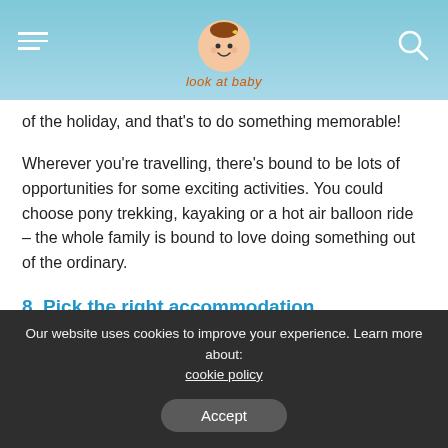[Figure (logo): Look at Baby website logo — a cartoon baby illustration with the text 'look at baby' underneath, centered in a light blue header bar with hamburger menu on left and search icon on right]
of the holiday, and that's to do something memorable!
Wherever you're travelling, there's bound to be lots of opportunities for some exciting activities. You could choose pony trekking, kayaking or a hot air balloon ride – the whole family is bound to love doing something out of the ordinary.
8. Pick the right accommodation...
Where you're staying can have a massive effect on your holiday, so make sure you've picked the right place. When you're
Our website uses cookies to improve your experience. Learn more about: cookie policy
Accept